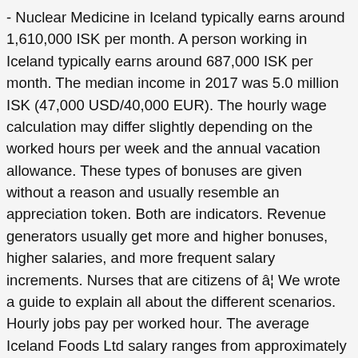- Nuclear Medicine in Iceland typically earns around 1,610,000 ISK per month. A person working in Iceland typically earns around 687,000 ISK per month. The median income in 2017 was 5.0 million ISK (47,000 USD/40,000 EUR). The hourly wage calculation may differ slightly depending on the worked hours per week and the annual vacation allowance. These types of bonuses are given without a reason and usually resemble an appreciation token. Both are indicators. Revenue generators usually get more and higher bonuses, higher salaries, and more frequent salary increments. Nurses that are citizens of â¦ We wrote a guide to explain all about the different scenarios. Hourly jobs pay per worked hour. The average Iceland Foods Ltd salary ranges from approximately £8,000 per year for Customer Service Representative to £55,056 per year for Team Supervisor. The average pay for a Physician is ISK 23,933,527 a year and ISK 11,507 an hour in Iceland. Median The average medical doctor gross salary in Iceland is 23,921,490 ISK or an equivalent hourly rate of 11,501 ISK. The numbers become more